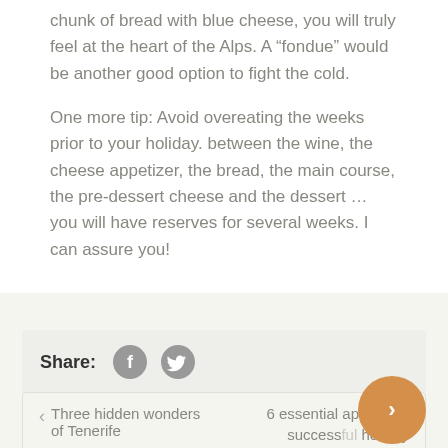chunk of bread with blue cheese, you will truly feel at the heart of the Alps. A “fondue” would be another good option to fight the cold.
One more tip: Avoid overeating the weeks prior to your holiday. between the wine, the cheese appetizer, the bread, the main course, the pre-dessert cheese and the dessert … you will have reserves for several weeks. I can assure you!
Share:
Three hidden wonders of Tenerife
6 essential apps for a successful holiday